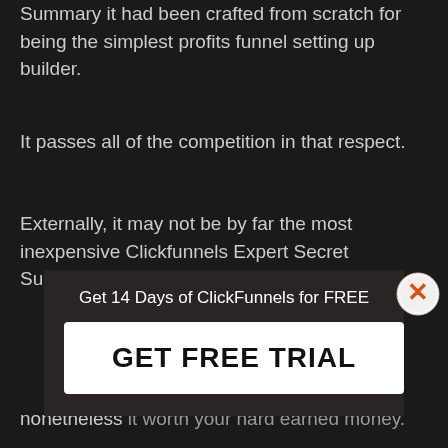Summary it had been crafted from scratch for being the simplest profits funnel setting up builder.
It passes all of the competition in that respect.
Externally, it may not be by far the most inexpensive Clickfunnels Expert Secret Summary program on the market.
[Figure (screenshot): Modal popup overlay with title 'Get 14 Days of ClickFunnels for FREE' and a white button labeled 'GET FREE TRIAL', with an orange X close button in the top right]
nonetheless it worth your hard earned money.
your company will certainly turn out remaining extra lucrative.
Moreover, you will definitely help save a lot of money from not needing to make use of other